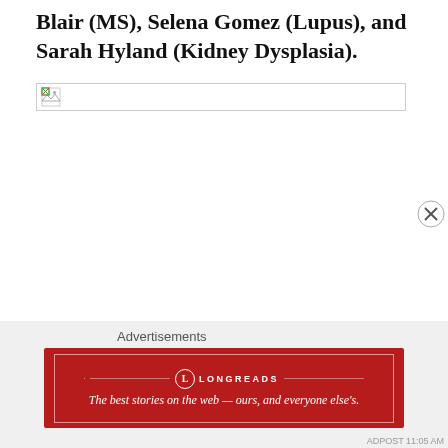Blair (MS), Selena Gomez (Lupus), and Sarah Hyland (Kidney Dysplasia).
[Figure (other): Broken/unloaded image placeholder with small broken image icon in top-left corner, bordered box]
Advertisements
[Figure (other): Longreads advertisement banner — red background with Longreads logo and tagline: 'The best stories on the web — ours, and everyone else's.']